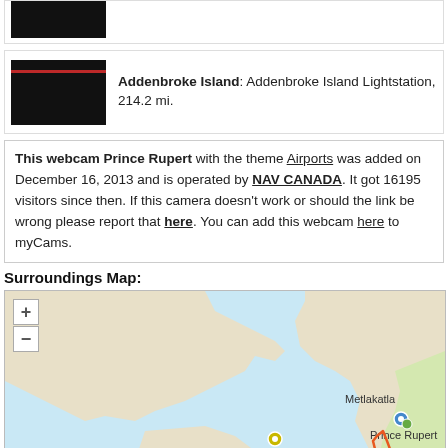[Figure (photo): Black thumbnail image at top (partial, cropped)]
Addenbroke Island: Addenbroke Island Lightstation, 214.2 mi.
This webcam Prince Rupert with the theme Airports was added on December 16, 2013 and is operated by NAV CANADA. It got 16195 visitors since then. If this camera doesn't work or should the link be wrong please report that here. You can add this webcam here to myCams.
Surroundings Map:
[Figure (map): Interactive map showing the surroundings of Prince Rupert area, with Metlakatla labeled, zoom +/- controls, location markers near Prince Rupert, and a route overlay in red/orange.]